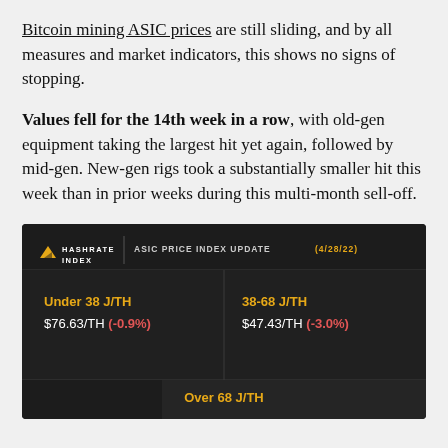Bitcoin mining ASIC prices are still sliding, and by all measures and market indicators, this shows no signs of stopping.
Values fell for the 14th week in a row, with old-gen equipment taking the largest hit yet again, followed by mid-gen. New-gen rigs took a substantially smaller hit this week than in prior weeks during this multi-month sell-off.
[Figure (infographic): Hashrate Index ASIC Price Index Update (4/28/22) showing three efficiency tiers: Under 38 J/TH at $76.63/TH (-0.9%), 38-68 J/TH at $47.43/TH (-3.0%), and Over 68 J/TH (partially visible).]